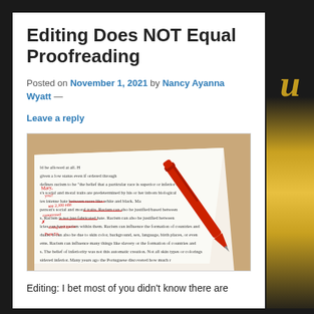Editing Does NOT Equal Proofreading
Posted on November 1, 2021 by Nancy Ayanna Wyatt —
Leave a reply
[Figure (photo): A document with red handwritten proofreading marks and a red pen resting on top of it, placed on a wooden surface.]
Editing: I bet most of you didn't know there are